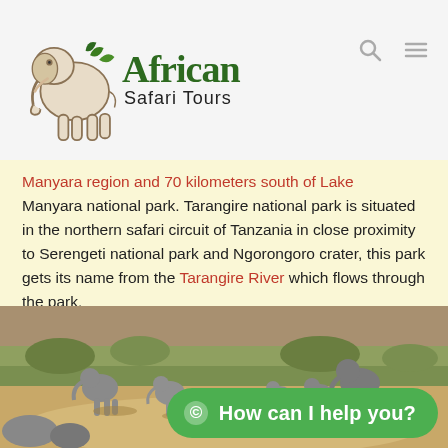African Safari Tours
Manyara region and 70 kilometers south of Lake Manyara national park. Tarangire national park is situated in the northern safari circuit of Tanzania in close proximity to Serengeti national park and Ngorongoro crater, this park gets its name from the Tarangire River which flows through the park.
[Figure (photo): A herd of elephants walking through a dry, sandy riverbed with green scrubland in the background.]